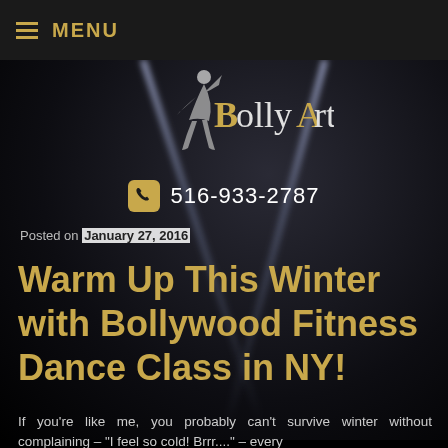MENU
[Figure (logo): BollyArts logo with stylized dancer silhouette and gold/white text]
516-933-2787
Posted on January 27, 2016
Warm Up This Winter with Bollywood Fitness Dance Class in NY!
If you're like me, you probably can't survive winter without complaining – "I feel so cold! Brrr...." – every